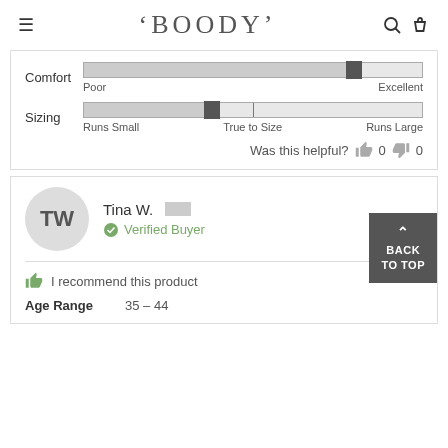BOODY
[Figure (infographic): Comfort slider showing position near Excellent end. Sizing slider showing position slightly left of True to Size.]
Was this helpful? 0 0
TW
Tina W.
Verified Buyer
I recommend this product
Age Range  35 – 44